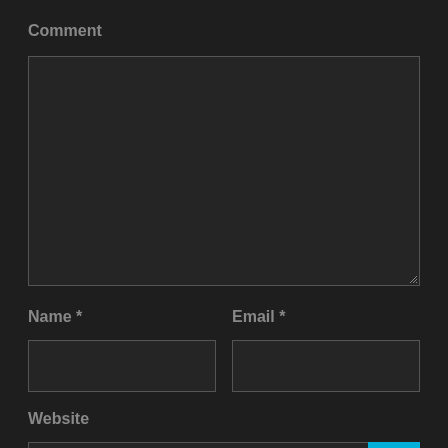Comment
[Figure (other): Comment textarea input field, dark background with border and resize handle]
Name *
[Figure (other): Name text input field, dark background with border]
Email *
[Figure (other): Email text input field, dark background with border]
Website
[Figure (other): Website text input field with cyan scroll-to-top button overlay at bottom right]